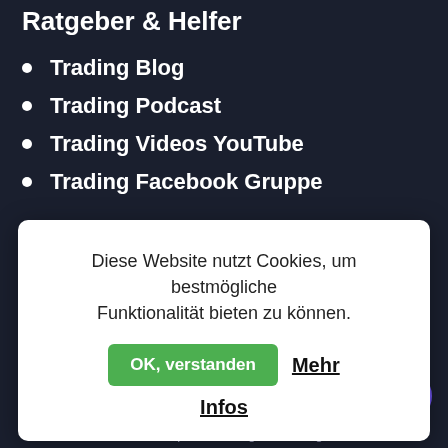Ratgeber & Helfer
Trading Blog
Trading Podcast
Trading Videos YouTube
Trading Facebook Gruppe
Diese Website nutzt Cookies, um bestmögliche Funktionalität bieten zu können.
OK, verstanden
Mehr Infos
Zypern Larnaca Auswandern
Du hast noch Fragen?
Partner:
4REX Impulse Trading Ausbildung